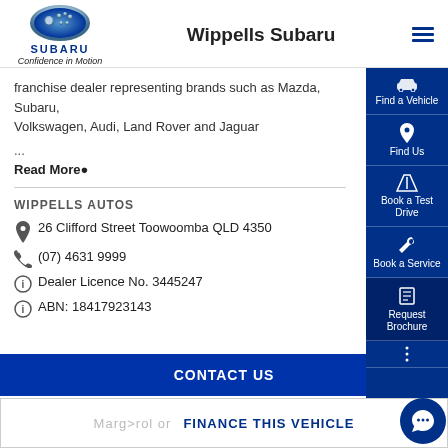[Figure (logo): Subaru logo oval with stars and SUBARU text, Confidence in Motion tagline]
Wippells Subaru
franchise dealer representing brands such as Mazda, Subaru, Volkswagen, Audi, Land Rover and Jaguar
...
Read More●
WIPPELLS AUTOS
26 Clifford Street Toowoomba QLD 4350
(07) 4631 9999
Dealer Licence No. 3445247
ABN: 18417923143
CONTACT US
FINANCE THIS VEHICLE